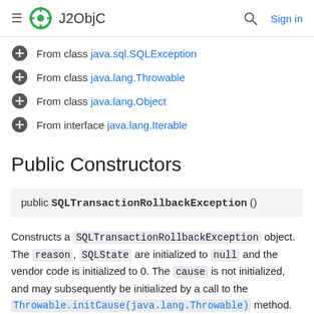≡  J2ObjC    🔍  Sign in
From class java.sql.SQLException
From class java.lang.Throwable
From class java.lang.Object
From interface java.lang.Iterable
Public Constructors
public SQLTransactionRollbackException ()
Constructs a SQLTransactionRollbackException object. The reason, SQLState are initialized to null and the vendor code is initialized to 0. The cause is not initialized, and may subsequently be initialized by a call to the Throwable.initCause(java.lang.Throwable) method.